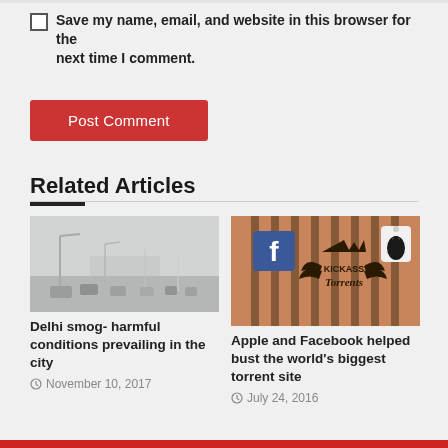Save my name, email, and website in this browser for the next time I comment.
Post Comment
Related Articles
[Figure (photo): Foggy highway with traffic in smog conditions in Delhi]
Delhi smog- harmful conditions prevailing in the city
November 10, 2017
[Figure (photo): Illustration of Facebook, KickAss Torrents, and Apple logos behind prison bars]
Apple and Facebook helped bust the world’s biggest torrent site
July 24, 2016